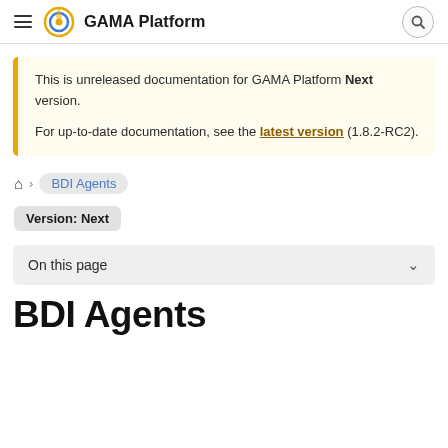GAMA Platform
This is unreleased documentation for GAMA Platform Next version.

For up-to-date documentation, see the latest version (1.8.2-RC2).
BDI Agents
Version: Next
On this page
BDI Agents